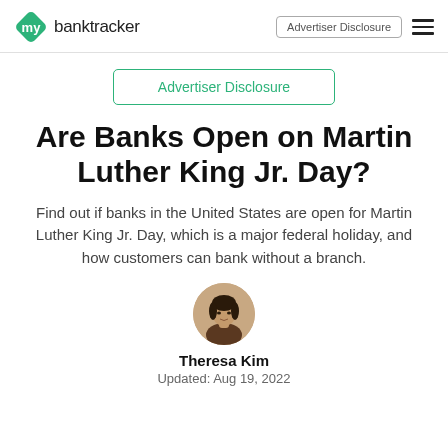mybanktracker | Advertiser Disclosure
Advertiser Disclosure
Are Banks Open on Martin Luther King Jr. Day?
Find out if banks in the United States are open for Martin Luther King Jr. Day, which is a major federal holiday, and how customers can bank without a branch.
[Figure (photo): Circular author photo of Theresa Kim]
Theresa Kim
Updated: Aug 19, 2022